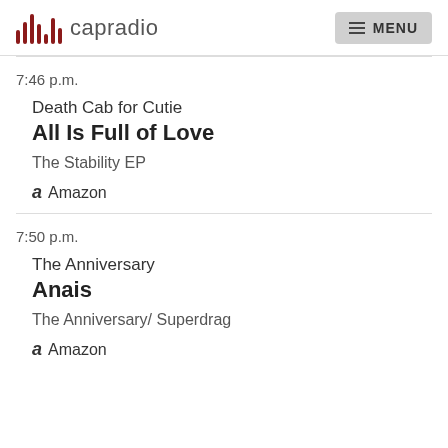capradio MENU
7:46 p.m.
Death Cab for Cutie
All Is Full of Love
The Stability EP
Amazon
7:50 p.m.
The Anniversary
Anais
The Anniversary/ Superdrag
Amazon